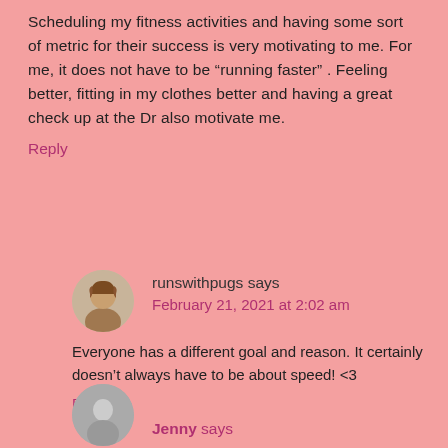Scheduling my fitness activities and having some sort of metric for their success is very motivating to me. For me, it does not have to be “running faster” . Feeling better, fitting in my clothes better and having a great check up at the Dr also motivate me.
Reply
runswithpugs says
February 21, 2021 at 2:02 am
Everyone has a different goal and reason. It certainly doesn’t always have to be about speed! <3
Reply
Jenny says